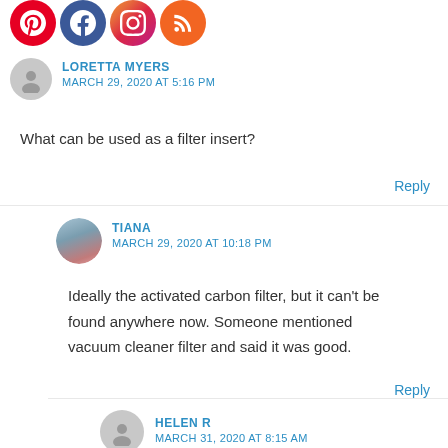[Figure (other): Social media icons row: Pinterest (red), Facebook (blue), Instagram (gradient), RSS (orange)]
LORETTA MYERS
MARCH 29, 2020 AT 5:16 PM
What can be used as a filter insert?
Reply
TIANA
MARCH 29, 2020 AT 10:18 PM
Ideally the activated carbon filter, but it can’t be found anywhere now. Someone mentioned vacuum cleaner filter and said it was good.
Reply
HELEN R
MARCH 31, 2020 AT 8:15 AM